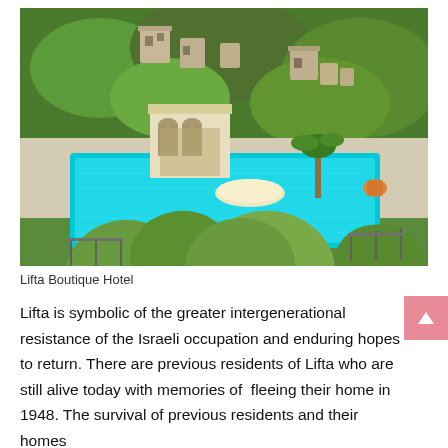[Figure (photo): Aerial view of a luxury boutique hotel with a turquoise infinity pool in the foreground, a stone pavilion/gazebo structure with arched openings, and ruined stone buildings on a green hillside in the background. Cactus plants (prickly pear) are visible in the very foreground.]
Lifta Boutique Hotel
Lifta is symbolic of the greater intergenerational resistance of the Israeli occupation and enduring hopes to return. There are previous residents of Lifta who are still alive today with memories of  fleeing their home in 1948. The survival of previous residents and their homes reflect the Palestinian hopes of liberation and return.